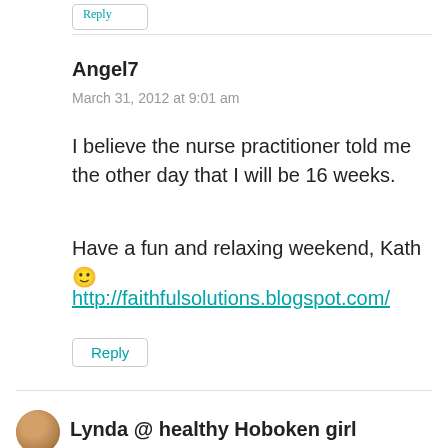Angel7
March 31, 2012 at 9:01 am
I believe the nurse practitioner told me the other day that I will be 16 weeks.
Have a fun and relaxing weekend, Kath 🙂
http://faithfulsolutions.blogspot.com/
Reply
Lynda @ healthy Hoboken girl